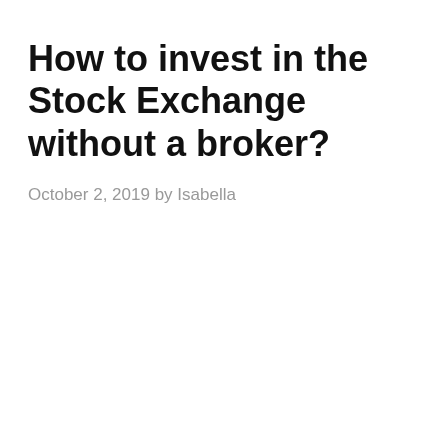How to invest in the Stock Exchange without a broker?
October 2, 2019 by Isabella